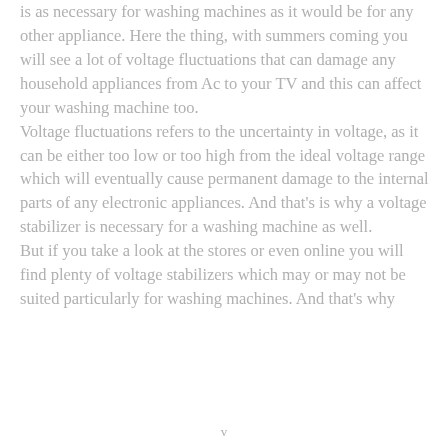is as necessary for washing machines as it would be for any other appliance. Here the thing, with summers coming you will see a lot of voltage fluctuations that can damage any household appliances from Ac to your TV and this can affect your washing machine too. Voltage fluctuations refers to the uncertainty in voltage, as it can be either too low or too high from the ideal voltage range which will eventually cause permanent damage to the internal parts of any electronic appliances. And that's is why a voltage stabilizer is necessary for a washing machine as well. But if you take a look at the stores or even online you will find plenty of voltage stabilizers which may or may not be suited particularly for washing machines. And that's why
v